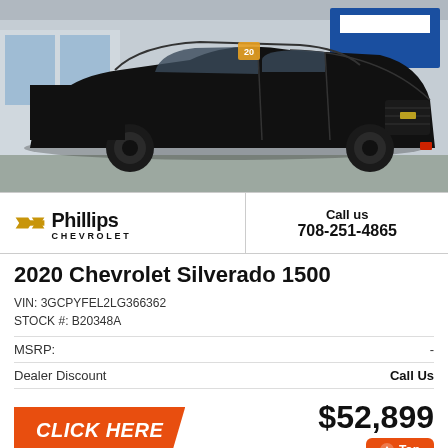[Figure (photo): A black 2020 Chevrolet Silverado 1500 pickup truck parked at a dealership lot, front 3/4 view, with blue Chevrolet dealership signage visible in the background.]
[Figure (logo): Phillips Chevrolet dealer logo with gold bowtie Chevrolet emblem and bold black text.]
Call us
708-251-4865
2020 Chevrolet Silverado 1500
VIN: 3GCPYFEL2LG366362
STOCK #: B20348A
MSRP:  -
Dealer Discount  Call Us
CLICK HERE
$52,899